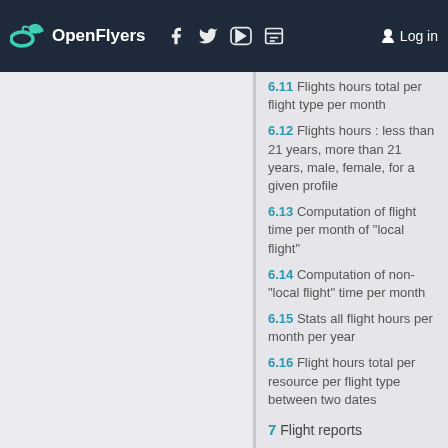OpenFlyers  Log in
6.11 Flights hours total per flight type per month
6.12 Flights hours : less than 21 years, more than 21 years, male, female, for a given profile
6.13 Computation of flight time per month of "local flight"
6.14 Computation of non-"local flight" time per month
6.15 Stats all flight hours per month per year
6.16 Flight hours total per resource per flight type between two dates
7 Flight reports
7.1 Aircraft(s) which no flight were done for at least 30 day(s)